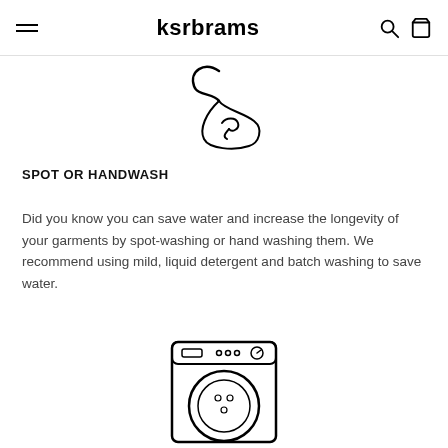ksrbrams
[Figure (illustration): A hand-drawn illustration of a hang tag or price tag with a curved string/loop at the top]
SPOT OR HANDWASH
Did you know you can save water and increase the longevity of your garments by spot-washing or hand washing them. We recommend using mild, liquid detergent and batch washing to save water.
[Figure (illustration): A line-drawing icon of a front-loading washing machine]